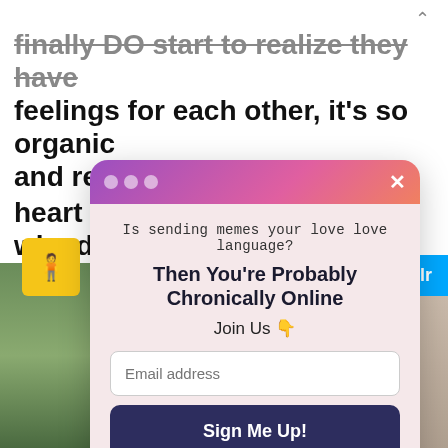finally DO start to realize they have feelings for each other, it's so organic and real. [Find more in the app!] heart out, why don't you?!
[Figure (screenshot): A popup modal on a webpage with gradient purple-pink header containing dots and X, body text 'Is sending memes your love language? Then You're Probably Chronically Online Join Us', an email input field, Sign Me Up button, and No Thanks link]
[Figure (photo): Photo strip at bottom showing left side with plants/garden setting and right side with person in light jacket near bookshelves]
Is sending memes your love language?
Then You're Probably Chronically Online
Join Us 👇
Sign Me Up!
No Thanks